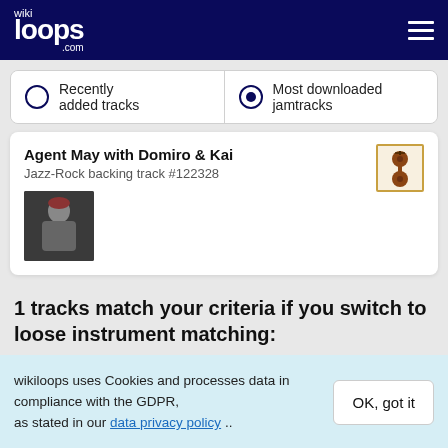wikiloops.com
Recently added tracks
Most downloaded jamtracks
Agent May with Domiro & Kai
Jazz-Rock backing track #122328
[Figure (photo): Small thumbnail of musician]
[Figure (illustration): Violin instrument icon in yellow-bordered box]
1 tracks match your criteria if you switch to loose instrument matching:
wikiloops uses Cookies and processes data in compliance with the GDPR, as stated in our data privacy policy ..